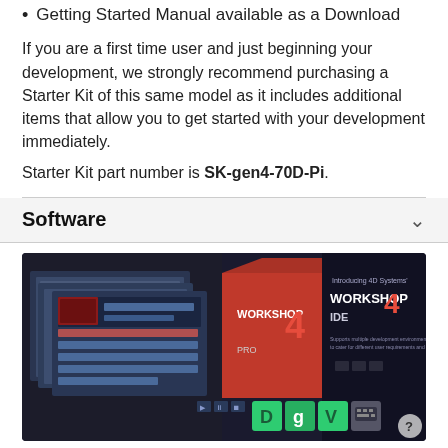Getting Started Manual available as a Download
If you are a first time user and just beginning your development, we strongly recommend purchasing a Starter Kit of this same model as it includes additional items that allow you to get started with your development immediately.
Starter Kit part number is SK-gen4-70D-Pi.
Software
[Figure (screenshot): Workshop4 IDE software banner showing multiple development environment screenshots and icons for Diablo, Goldelox, Visi-Genie, and Serial environments, with text 'Introducing 4D Systems' WORKSHOP4 IDE' and 'Supports multiple development environments to cater for different user requirements and skill level.']